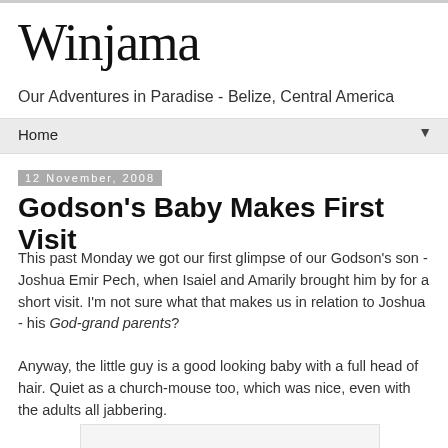Winjama
Our Adventures in Paradise - Belize, Central America
Home ▼
12 November, 2008
Godson's Baby Makes First Visit
This past Monday we got our first glimpse of our Godson's son - Joshua Emir Pech, when Isaiel and Amarily brought him by for a short visit. I'm not sure what that makes us in relation to Joshua - his God-grand parents?
Anyway, the little guy is a good looking baby with a full head of hair. Quiet as a church-mouse too, which was nice, even with the adults all jabbering.
[Figure (photo): Photo placeholder at bottom of page]